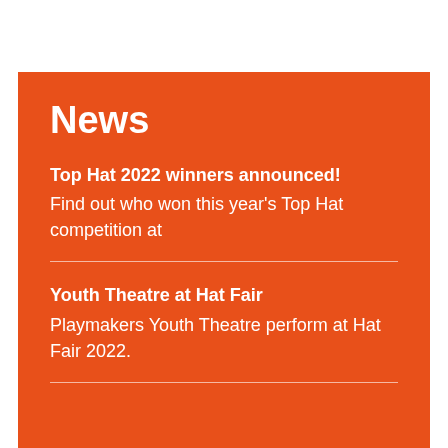News
Top Hat 2022 winners announced!
Find out who won this year's Top Hat competition at
Youth Theatre at Hat Fair
Playmakers Youth Theatre perform at Hat Fair 2022.